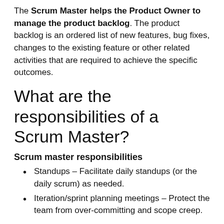The Scrum Master helps the Product Owner to manage the product backlog. The product backlog is an ordered list of new features, bug fixes, changes to the existing feature or other related activities that are required to achieve the specific outcomes.
What are the responsibilities of a Scrum Master?
Scrum master responsibilities
Standups – Facilitate daily standups (or the daily scrum) as needed.
Iteration/sprint planning meetings – Protect the team from over-committing and scope creep.